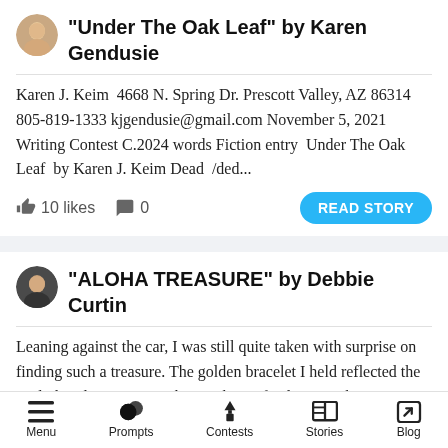"Under The Oak Leaf" by Karen Gendusie
Karen J. Keim  4668 N. Spring Dr. Prescott Valley, AZ 86314 805-819-1333 kjgendusie@gmail.com November 5, 2021 Writing Contest C.2024 words Fiction entry  Under The Oak Leaf  by Karen J. Keim Dead  /ded...
10 likes  0  READ STORY
"ALOHA TREASURE" by Debbie Curtin
Leaning against the car, I was still quite taken with surprise on finding such a treasure. The golden bracelet I held reflected the sunlight, glimmering with a rainbow of colors, as I kept turning it. There was a
Menu  Prompts  Contests  Stories  Blog